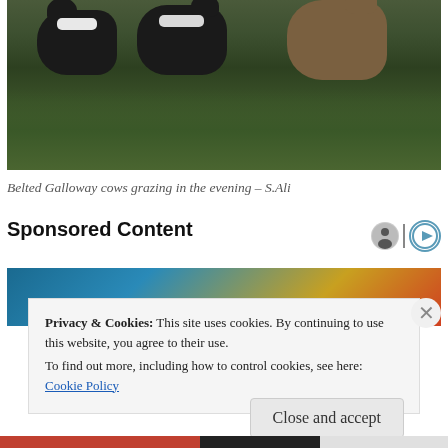[Figure (photo): Belted Galloway cows grazing on green grass in the evening light. Three dark cattle with white belts visible in a field.]
Belted Galloway cows grazing in the evening – S.Ali
Sponsored Content
[Figure (photo): Sponsored content image showing food items on a blue wooden background — appears to be berries and other food ingredients.]
Privacy & Cookies: This site uses cookies. By continuing to use this website, you agree to their use.
To find out more, including how to control cookies, see here:
Cookie Policy
Close and accept